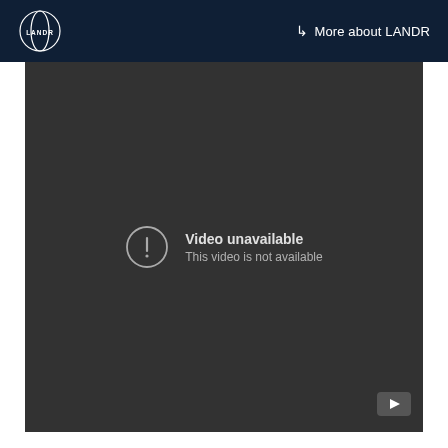LANDR | More about LANDR
[Figure (screenshot): Embedded YouTube video player showing 'Video unavailable – This video is not available' error message on a dark gray background, with YouTube logo in bottom-right corner.]
This next one has been a staple chord progression in